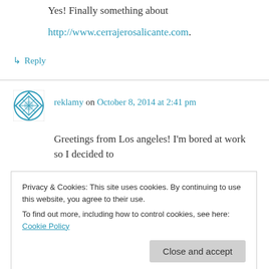Yes! Finally something about http://www.cerrajerosalicante.com.
↳ Reply
reklamy on October 8, 2014 at 2:41 pm
Greetings from Los angeles! I'm bored at work so I decided to browse your website on my iphone during lunch break. I really like
Privacy & Cookies: This site uses cookies. By continuing to use this website, you agree to their use.
To find out more, including how to control cookies, see here: Cookie Policy
Close and accept
excellent site!